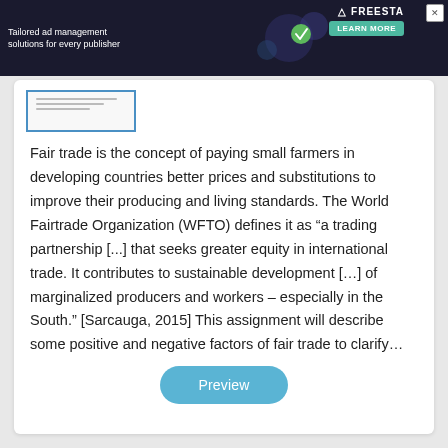[Figure (other): Advertisement banner: 'Tailored ad management solutions for every publisher' with FREESTA branding and LEARN MORE button on dark background]
[Figure (other): Document thumbnail preview image with blue border]
Fair trade is the concept of paying small farmers in developing countries better prices and substitutions to improve their producing and living standards. The World Fairtrade Organization (WFTO) defines it as “a trading partnership [...] that seeks greater equity in international trade. It contributes to sustainable development […] of marginalized producers and workers – especially in the South.” [Sarcauga, 2015] This assignment will describe some positive and negative factors of fair trade to clarify…
Preview